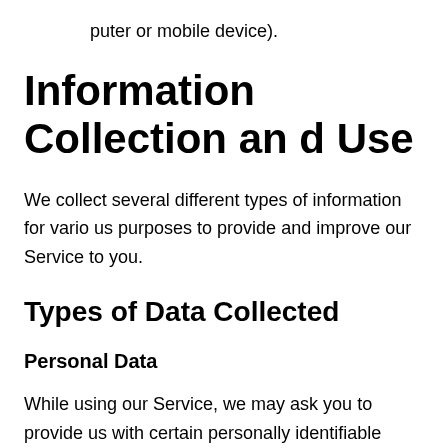puter or mobile device).
Information Collection and Use
We collect several different types of information for various purposes to provide and improve our Service to you.
Types of Data Collected
Personal Data
While using our Service, we may ask you to provide us with certain personally identifiable information that can be used to contact or identify you ("Personal Data"). Personally identifiable information may include, but is not limit